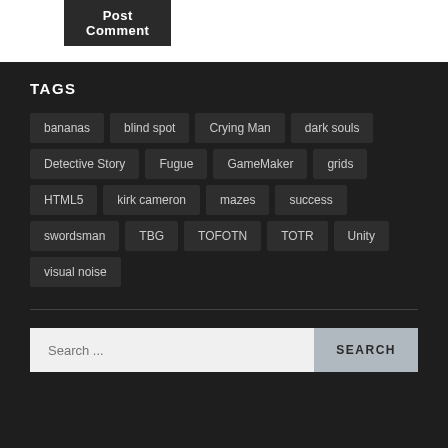Post Comment
TAGS
bananas
blind spot
Crying Man
dark souls
Detective Story
Fugue
GameMaker
grids
HTML5
kirk cameron
mazes
success
swordsman
TBG
TOFOTN
TOTR
Unity
visual noise
Search ...